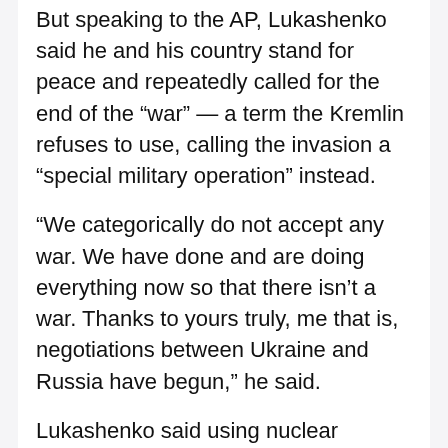But speaking to the AP, Lukashenko said he and his country stand for peace and repeatedly called for the end of the “war” — a term the Kremlin refuses to use, calling the invasion a “special military operation” instead.
“We categorically do not accept any war. We have done and are doing everything now so that there isn’t a war. Thanks to yours truly, me that is, negotiations between Ukraine and Russia have begun,” he said.
Lukashenko said using nuclear weapons in Ukraine was “unacceptable because it’s right next to us — we are not across the ocean like the United States.”
“It is also unacceptable because it might knock